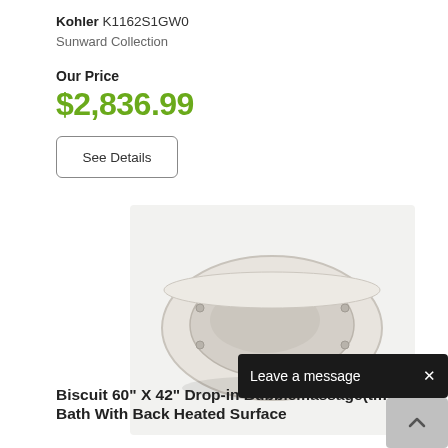Kohler K1162S1GW0
Sunward Collection
Our Price
$2,836.99
See Details
[Figure (photo): Biscuit/off-white oval drop-in bathtub with air jets, viewed from above at angle, shown on light grey background]
Leave a message
Biscuit 60" X 42" Drop-in Bubblemassage(tm) Air Bath With Back Heated Surface